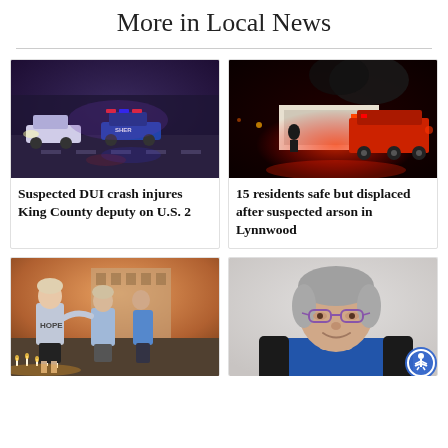More in Local News
[Figure (photo): Police vehicles with lights on at a nighttime crash scene on U.S. 2, sheriff car visible]
Suspected DUI crash injures King County deputy on U.S. 2
[Figure (photo): Fire trucks and emergency vehicles at night scene with red lights, suspected arson in Lynnwood]
15 residents safe but displaced after suspected arson in Lynnwood
[Figure (photo): People at a gathering, one wearing a HOPE sweatshirt, candles visible on the ground]
[Figure (photo): Portrait of a smiling older woman with glasses and gray hair wearing a blue shirt]